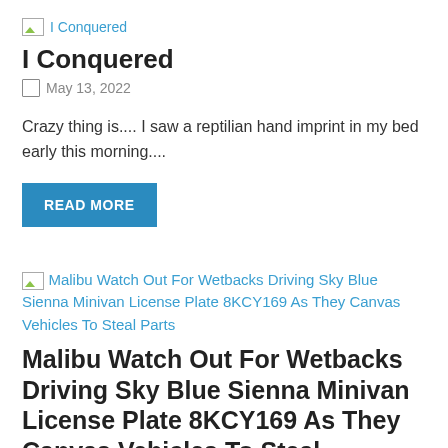[Figure (logo): Broken image icon with text link 'I Conquered']
I Conquered
May 13, 2022
Crazy thing is.... I saw a reptilian hand imprint in my bed early this morning....
READ MORE
[Figure (logo): Broken image icon with link text 'Malibu Watch Out For Wetbacks Driving Sky Blue Sienna Minivan License Plate 8KCY169 As They Canvas Vehicles To Steal Parts']
Malibu Watch Out For Wetbacks Driving Sky Blue Sienna Minivan License Plate 8KCY169 As They Canvas Vehicles To Steal